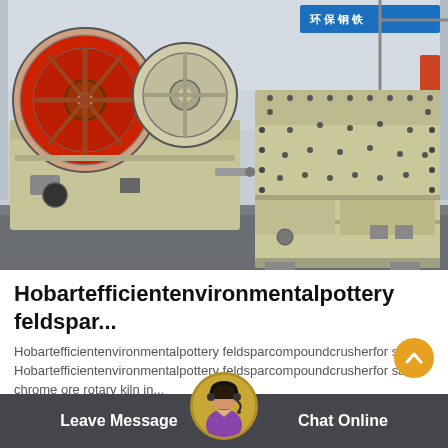[Figure (photo): Industrial heavy machinery (crushers/mills) in a factory/warehouse setting. Two large beige/cream-colored machines on a concrete floor. Left machine has red circular flywheel. Blue Chinese text banner visible in background.]
Hobartefficientenvironmentalpottery feldspar...
Hobartefficientenvironmentalpottery feldsparcompoundcrusherfor sale: Hobartefficientenvironmentalpottery feldsparcompoundcrusherfor sale chrome ore rotary kiln in...
Leave Message   Chat Online